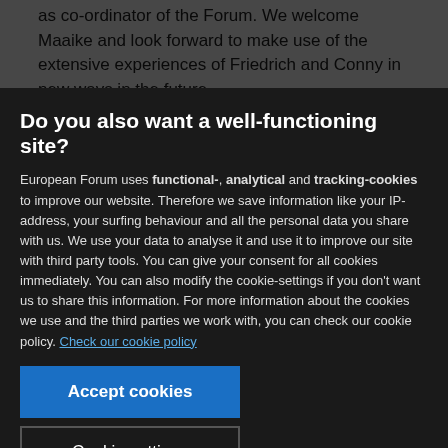as co-ordinator of the Forum. We welcome Maaike and look forward to make use of the extensive experiences of Friedrich and Conny in new ways in the future.
Lena Hjelm-Wallén
Do you also want a well-functioning site?
European Forum uses functional-, analytical and tracking-cookies to improve our website. Therefore we save information like your IP-address, your surfing behaviour and all the personal data you share with us. We use your data to analyse it and use it to improve our site with third party tools. You can give your consent for all cookies immediately. You can also modify the cookie-settings if you don't want us to share this information. For more information about the cookies we use and the third parties we work with, you can check our cookie policy. Check our cookie policy
Accept cookies
Cookie settings
INTRODUCTION
In 2000 the European Forum was transformed from an informal organisation into an official NGO. It became more independent and transparent. The